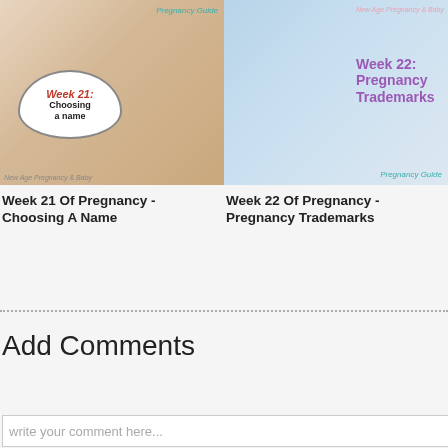[Figure (photo): Pregnancy week 21 image showing a thought bubble with 'Week 21: Choosing a name' text overlay, with Pregnancy Guide label]
[Figure (photo): Pregnancy week 22 image showing a pregnant belly in white, with 'Week 22: Pregnancy Trademarks' text overlay]
Week 21 Of Pregnancy - Choosing A Name
Week 22 Of Pregnancy - Pregnancy Trademarks
Add Comments
write your comment here...